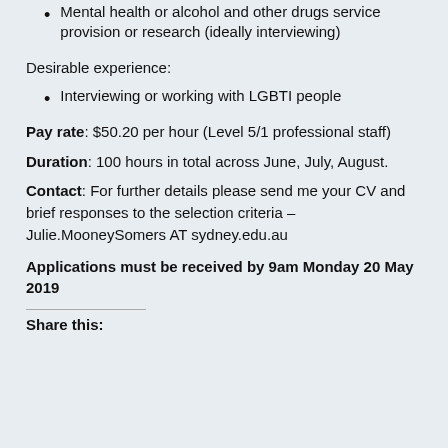Mental health or alcohol and other drugs service provision or research (ideally interviewing)
Desirable experience:
Interviewing or working with LGBTI people
Pay rate: $50.20 per hour (Level 5/1 professional staff)
Duration: 100 hours in total across June, July, August.
Contact: For further details please send me your CV and brief responses to the selection criteria – Julie.MooneySomers AT sydney.edu.au
Applications must be received by 9am Monday 20 May 2019
Share this: